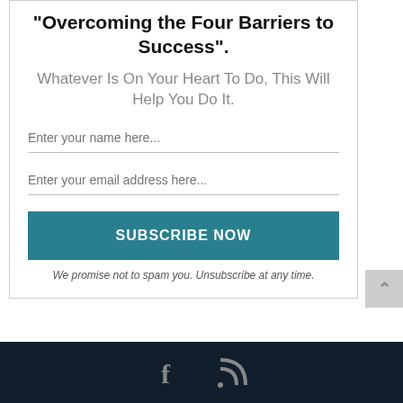"Overcoming the Four Barriers to Success".
Whatever Is On Your Heart To Do, This Will Help You Do It.
Enter your name here...
Enter your email address here...
SUBSCRIBE NOW
We promise not to spam you. Unsubscribe at any time.
[Figure (other): Facebook and RSS social media icons in dark footer bar]